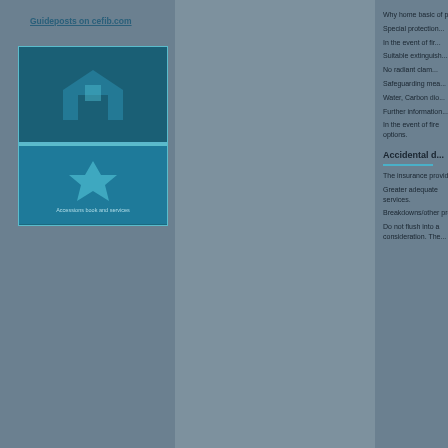Guideposts on cefib.com
[Figure (illustration): Insurance product illustration with icon graphics on teal/blue background panel]
Why home basic of p...
Special protection...
In the event of fir...
Suitable extinguish...
No radiant clam...
Safeguarding mea...
Water, Carbon dio...
Further information...
In the event of fire options.
Accidental d...
The insurance provides a...
Greater adequate services.
Breakdowns/other pro...
Do not flush into a consideration. The...